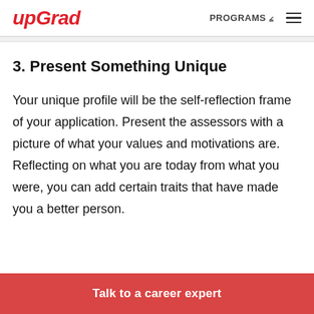upGrad | PROGRAMS ▾ ≡
3. Present Something Unique
Your unique profile will be the self-reflection frame of your application. Present the assessors with a picture of what your values and motivations are. Reflecting on what you are today from what you were, you can add certain traits that have made you a better person.
Talk to a career expert